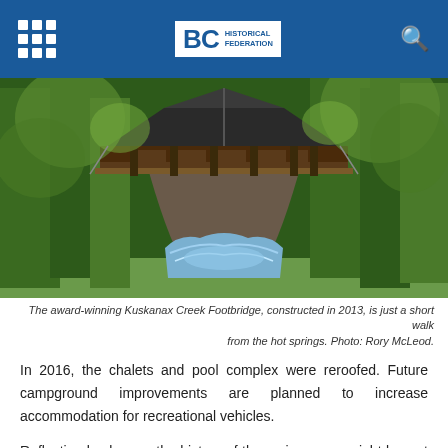BC Historical Federation
[Figure (photo): Aerial view of the Kuskanax Creek Footbridge, a covered wooden bridge spanning a rushing creek gorge surrounded by dense green forest, constructed in 2013.]
The award-winning Kuskanax Creek Footbridge, constructed in 2013, is just a short walk from the hot springs. Photo: Rory McLeod.
In 2016, the chalets and pool complex were reroofed. Future campground improvements are planned to increase accommodation for recreational vehicles.
Reflecting back upon the history of the springs, one might lament its